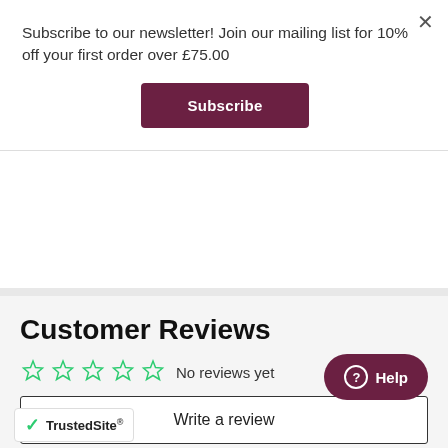Subscribe to our newsletter! Join our mailing list for 10% off your first order over £75.00
Subscribe
Customer Reviews
No reviews yet
Write a review
[Figure (logo): TrustedSite certification badge with green checkmark]